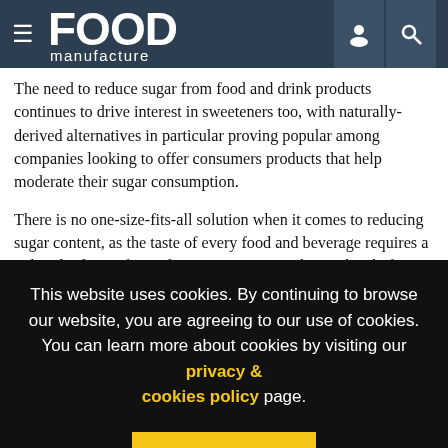FOOD manufacture
The need to reduce sugar from food and drink products continues to drive interest in sweeteners too, with naturally-derived alternatives in particular proving popular among companies looking to offer consumers products that help moderate their sugar consumption.
There is no one-size-fits-all solution when it comes to reducing sugar content, as the taste of every food and beverage requires a tailored solution for each category, says Faith Son, head of marketing and innovation at PureCircle, which
This website uses cookies. By continuing to browse our website, you are agreeing to our use of cookies. You can learn more about cookies by visiting our privacy & cookies policy page.